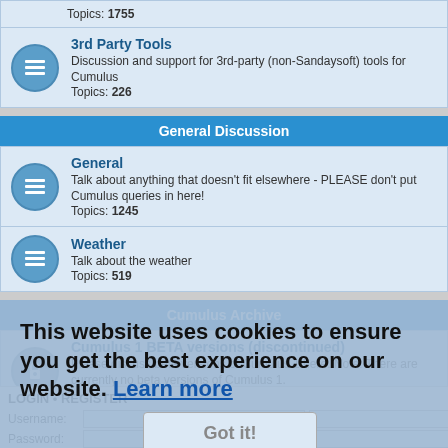Topics: 1755
3rd Party Tools
Discussion and support for 3rd-party (non-Sandaysoft) tools for Cumulus
Topics: 226
General Discussion
General
Talk about anything that doesn't fit elsewhere - PLEASE don't put Cumulus queries in here!
Topics: 1245
Weather
Talk about the weather
Topics: 519
Cumulus Archive
Cumulus 1 BETA versions (discontinued)
Please discuss beta versions of Cumulus 1 here. Note: There are currently no beta versions of Cumulus 1.
Topics: 732
This website uses cookies to ensure you get the best experience on our website. Learn more
Got it!
LOGIN • REGISTER
Username:
Password:
I forgot my password
Remember me
Login